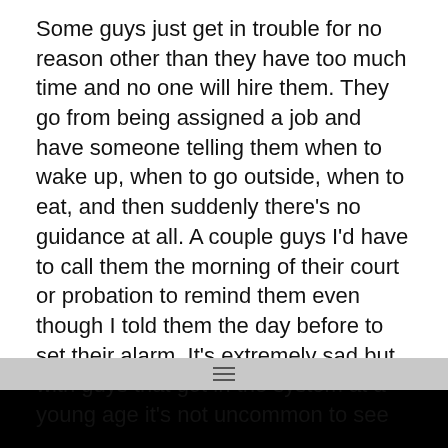Some guys just get in trouble for no reason other than they have too much time and no one will hire them. They go from being assigned a job and have someone telling them when to wake up, when to go outside, when to eat, and then suddenly there's no guidance at all. A couple guys I'd have to call them the morning of their court or probation to remind them even though I told them the day before to set their alarm. It's extremely sad but with guys that got in the system at a young age it's not uncommon to see